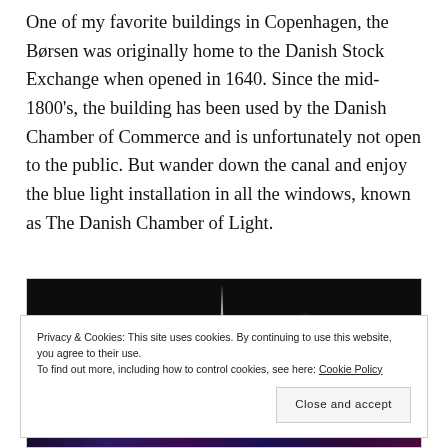One of my favorite buildings in Copenhagen, the Børsen was originally home to the Danish Stock Exchange when opened in 1640. Since the mid-1800's, the building has been used by the Danish Chamber of Commerce and is unfortunately not open to the public. But wander down the canal and enjoy the blue light installation in all the windows, known as The Danish Chamber of Light.
[Figure (photo): Night photograph of the Børsen building in Copenhagen showing a dark sky with a spire and blue/purple light installation in the windows at the bottom of the frame.]
Privacy & Cookies: This site uses cookies. By continuing to use this website, you agree to their use.
To find out more, including how to control cookies, see here: Cookie Policy
Close and accept